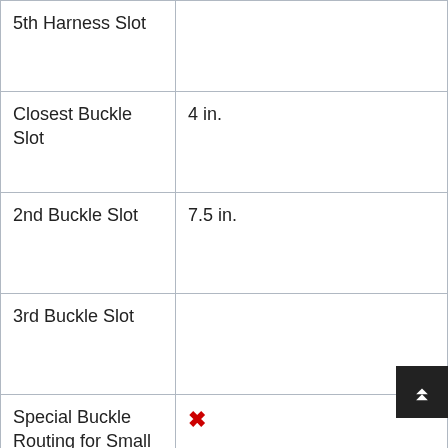| Feature | Value |
| --- | --- |
| 5th Harness Slot |  |
| Closest Buckle Slot | 4 in. |
| 2nd Buckle Slot | 7.5 in. |
| 3rd Buckle Slot |  |
| Special Buckle Routing for Small Babies | ✗ |
| SEAT | CARSEATBLOG.COM COPYRIGHT ©2007-2021 |